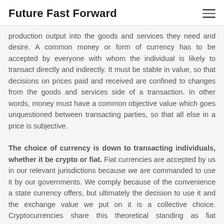Future Fast Forward
production output into the goods and services they need and desire. A common money or form of currency has to be accepted by everyone with whom the individual is likely to transact directly and indirectly. It must be stable in value, so that decisions on prices paid and received are confined to changes from the goods and services side of a transaction. In other words, money must have a common objective value which goes unquestioned between transacting parties, so that all else in a price is subjective.
The choice of currency is down to transacting individuals, whether it be crypto or fiat. Fiat currencies are accepted by us in our relevant jurisdictions because we are commanded to use it by our governments. We comply because of the convenience a state currency offers, but ultimately the decision to use it and the exchange value we put on it is a collective choice. Cryptocurrencies share this theoretical standing as fiat currencies, except that they do not have government